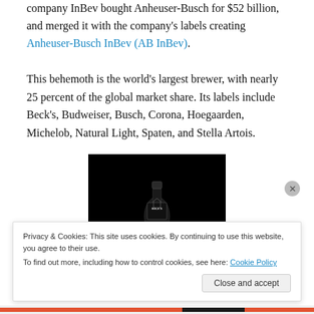company InBev bought Anheuser-Busch for $52 billion, and merged it with the company's labels creating Anheuser-Busch InBev (AB InBev).
This behemoth is the world's largest brewer, with nearly 25 percent of the global market share. Its labels include Beck's, Budweiser, Busch, Corona, Hoegaarden, Michelob, Natural Light, Spaten, and Stella Artois.
[Figure (photo): Dark/black background photo of a Beck's beer bottle, partially visible, with the Beck's label showing]
Privacy & Cookies: This site uses cookies. By continuing to use this website, you agree to their use.
To find out more, including how to control cookies, see here: Cookie Policy
Close and accept